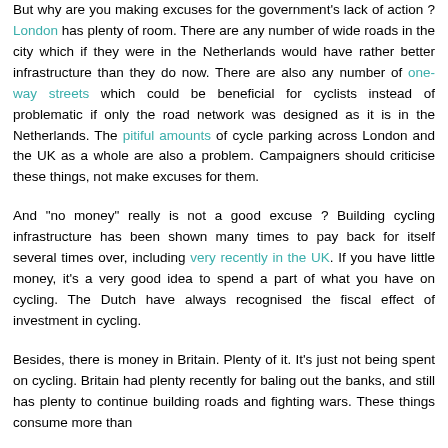But why are you making excuses for the government's lack of action ? London has plenty of room. There are any number of wide roads in the city which if they were in the Netherlands would have rather better infrastructure than they do now. There are also any number of one-way streets which could be beneficial for cyclists instead of problematic if only the road network was designed as it is in the Netherlands. The pitiful amounts of cycle parking across London and the UK as a whole are also a problem. Campaigners should criticise these things, not make excuses for them.
And "no money" really is not a good excuse ? Building cycling infrastructure has been shown many times to pay back for itself several times over, including very recently in the UK. If you have little money, it's a very good idea to spend a part of what you have on cycling. The Dutch have always recognised the fiscal effect of investment in cycling.
Besides, there is money in Britain. Plenty of it. It's just not being spent on cycling. Britain had plenty recently for baling out the banks, and still has plenty to continue building roads and fighting wars. These things consume more than